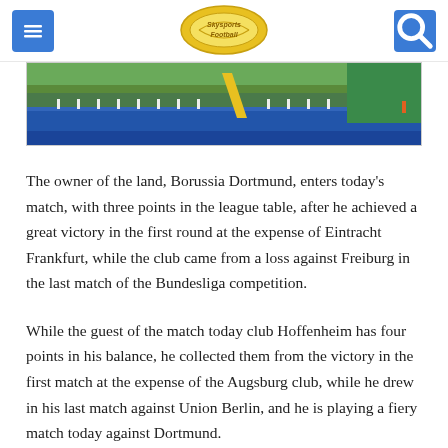Skysports Football
[Figure (photo): Aerial view of a stadium track with people on the field, blue running track visible]
The owner of the land, Borussia Dortmund, enters today's match, with three points in the league table, after he achieved a great victory in the first round at the expense of Eintracht Frankfurt, while the club came from a loss against Freiburg in the last match of the Bundesliga competition.
While the guest of the match today club Hoffenheim has four points in his balance, he collected them from the victory in the first match at the expense of the Augsburg club, while he drew in his last match against Union Berlin, and he is playing a fiery match today against Dortmund.